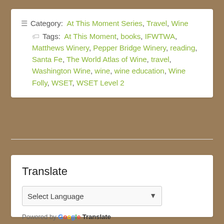Category: At This Moment Series, Travel, Wine
Tags: At This Moment, books, IFWTWA, Matthews Winery, Pepper Bridge Winery, reading, Santa Fe, The World Atlas of Wine, travel, Washington Wine, wine, wine education, Wine Folly, WSET, WSET Level 2
Translate
Select Language
Powered by Google Translate